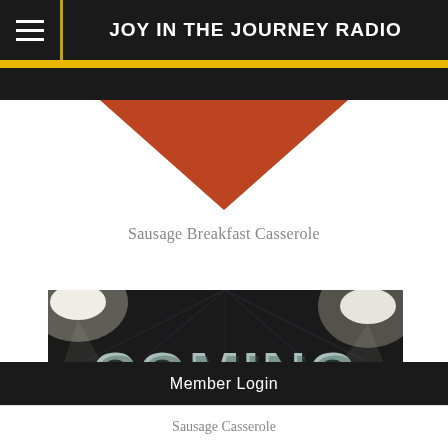JOY IN THE JOURNEY RADIO
[Figure (illustration): Downward-pointing red/brown diamond or chevron shape below the header bar]
Sausage Breakfast Casserole
[Figure (photo): Dark dramatic photo with large 3D text reading COMING SOON! with stage lighting and graffiti wall background]
Member Login
Sausage Casserole